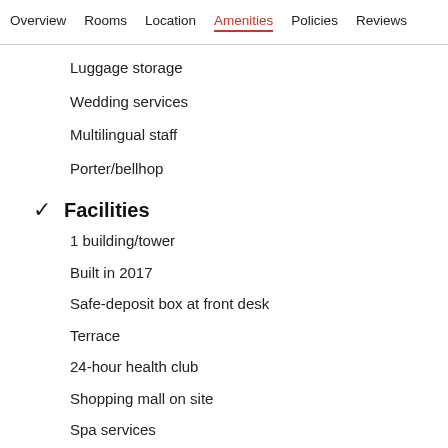Overview  Rooms  Location  Amenities  Policies  Reviews
Luggage storage
Wedding services
Multilingual staff
Porter/bellhop
Facilities
1 building/tower
Built in 2017
Safe-deposit box at front desk
Terrace
24-hour health club
Shopping mall on site
Spa services
Sauna
Accessibility